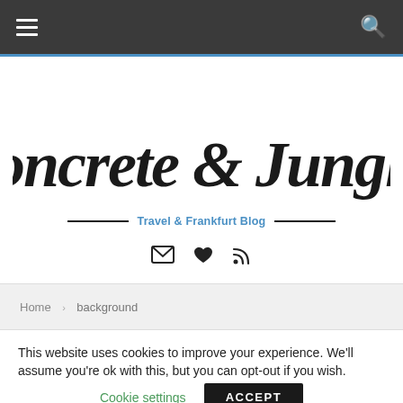Navigation bar with hamburger menu and search icon
[Figure (logo): Concrete & Jungles script logo with tagline 'Travel & Frankfurt Blog' and social icons (email, heart, RSS)]
Home > background
This website uses cookies to improve your experience. We'll assume you're ok with this, but you can opt-out if you wish.
Cookie settings   ACCEPT